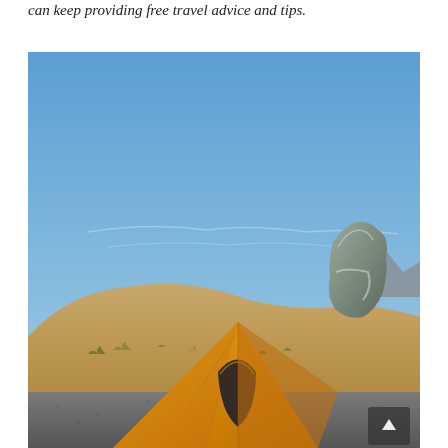can keep providing free travel advice and tips.
[Figure (photo): Outdoor camping photo showing an orange tent in the foreground on a gravel surface, with large pale sandy and grey rock formations in the background under a clear blue sky.]